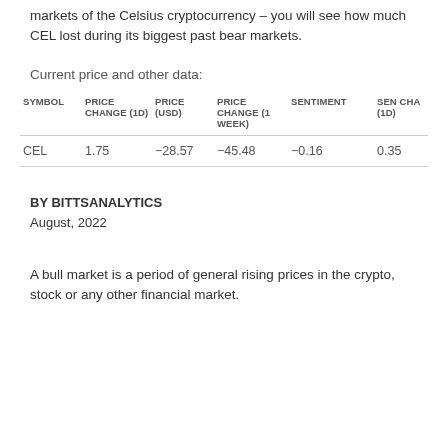markets of the Celsius cryptocurrency – you will see how much CEL lost during its biggest past bear markets.
Current price and other data:
| SYMBOL | PRICE CHANGE (1D) | PRICE (USD) | PRICE CHANGE (1 WEEK) | SENTIMENT | SEN CHA (1D) |
| --- | --- | --- | --- | --- | --- |
| CEL | 1.75 | -28.57 | -45.48 | -0.16 | 0.35 |
BY BITTSANALYTICS
August, 2022
A bull market is a period of general rising prices in the crypto, stock or any other financial market.